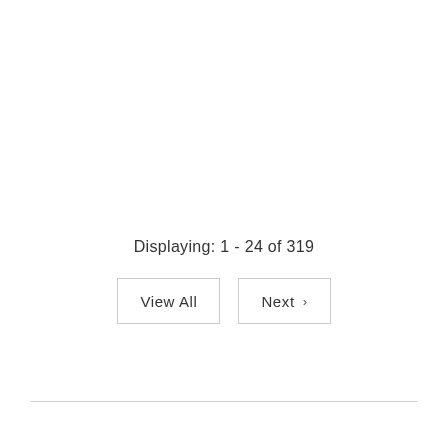Displaying: 1 - 24 of 319
View All
Next ›